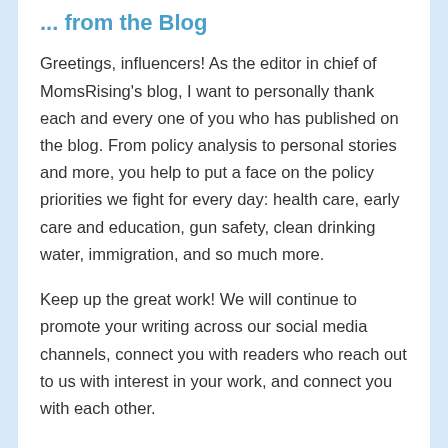... from the Blog
Greetings, influencers! As the editor in chief of MomsRising's blog, I want to personally thank each and every one of you who has published on the blog. From policy analysis to personal stories and more, you help to put a face on the policy priorities we fight for every day: health care, early care and education, gun safety, clean drinking water, immigration, and so much more.
Keep up the great work! We will continue to promote your writing across our social media channels, connect you with readers who reach out to us with interest in your work, and connect you with each other.